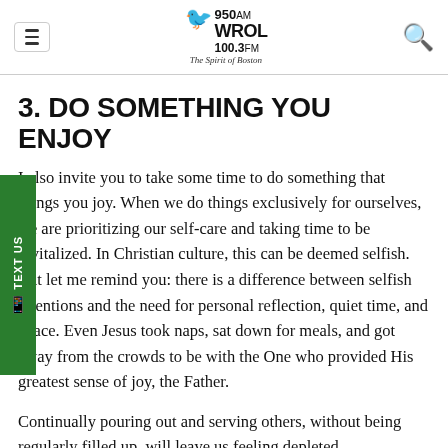950 AM WROL 100.3 FM The Spirit of Boston
3. DO SOMETHING YOU ENJOY
I also invite you to take some time to do something that brings you joy. When we do things exclusively for ourselves, we are prioritizing our self-care and taking time to be revitalized. In Christian culture, this can be deemed selfish. But let me remind you: there is a difference between selfish intentions and the need for personal reflection, quiet time, and peace. Even Jesus took naps, sat down for meals, and got away from the crowds to be with the One who provided His greatest sense of joy, the Father.
Continually pouring out and serving others, without being regularly filled up, will leave us feeling depleted, overwhelmed, and exhausted. You can read, sit outside,